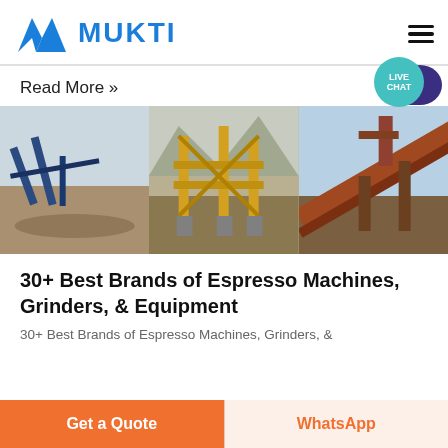[Figure (logo): Mukti company logo with blue triangular/mountain icon and bold blue text MUKTI]
[Figure (photo): Three side-by-side photographs of industrial mining/crushing/conveyor equipment machinery at outdoor sites]
Read More »
30+ Best Brands of Espresso Machines, Grinders, & Equipment
30+ Best Brands of Espresso Machines, Grinders, &
Get a Quote
WhatsApp